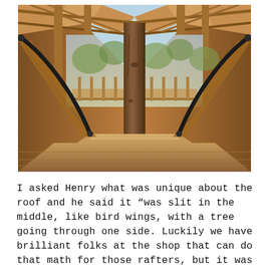[Figure (photo): Interior view looking down a wooden walkway or bridge leading into a treehouse structure. A large tree trunk is visible in the center, with wooden railings with black metal handrails on both sides converging toward the tree. A wooden deck and roof framing made of light-colored lumber is visible overhead, with trees visible in the background through an open sky.]
I asked Henry what was unique about the roof and he said it “was slit in the middle, like bird wings, with a tree going through one side. Luckily we have brilliant folks at the shop that can do that math for those rafters, but it was a very unique roof system.” Shout out Daniel designing this soaring roof and to the crew